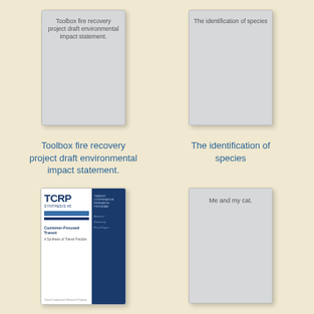[Figure (illustration): Book cover placeholder card with text: Toolbox fire recovery project draft environmental impact statement.]
[Figure (illustration): Book cover placeholder card with text: The identification of species]
Toolbox fire recovery project draft environmental impact statement.
The identification of species
[Figure (photo): TCRP Synthesis 45 book cover - Customer-Focused Transit, A Synthesis of Transit Practice]
[Figure (illustration): Book cover placeholder card with text: Me and my cat.]